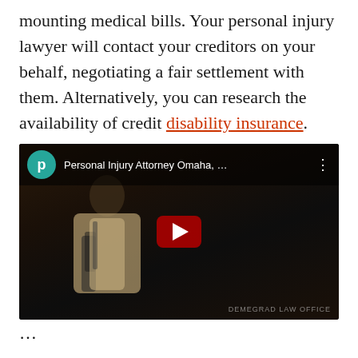mounting medical bills. Your personal injury lawyer will contact your creditors on your behalf, negotiating a fair settlement with them. Alternatively, you can research the availability of credit disability insurance.
[Figure (screenshot): YouTube video embed showing a video titled 'Personal Injury Attorney Omaha, ...' with a channel icon showing letter P on teal background, a play button, and a dark video thumbnail showing an older man in a suit.]
...